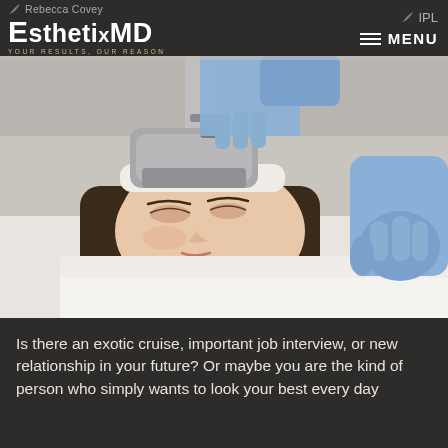Rebecca Covey MD | EsthetixMD | YOUR RESULTS, OUR REASON | IPL | MENU
[Figure (photo): Medical aesthetics treatment photo showing a woman lying back with eyes closed while a medical professional wearing blue latex gloves applies an IPL or ultrasound device to her forehead. The device is large, gray, and paddle-shaped. The background shows a clinical white environment.]
Is there an exotic cruise, important job interview, or new relationship in your future? Or maybe you are the kind of person who simply wants to look your best every day.